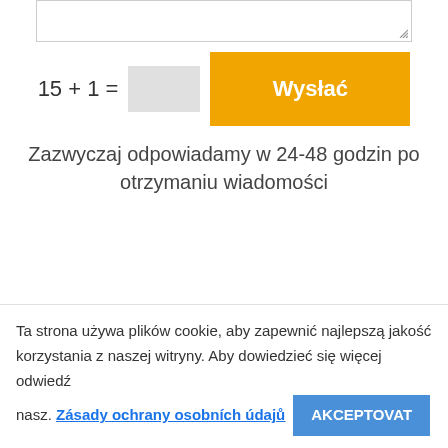[Figure (screenshot): Textarea input box with resize handle in bottom-right corner]
15 + 1 =
[Figure (screenshot): Gray input field for captcha answer]
[Figure (screenshot): Orange button labeled Wysłać]
Zazwyczaj odpowiadamy w 24-48 godzin po otrzymaniu wiadomości
Skontaktuj się z nami
Ta strona używa plików cookie, aby zapewnić najlepszą jakość korzystania z naszej witryny. Aby dowiedzieć się więcej odwiedź nasz. Zásady ochrany osobních údajů AKCEPTOVAT